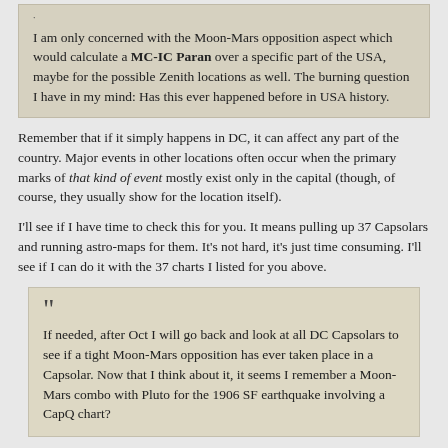I am only concerned with the Moon-Mars opposition aspect which would calculate a MC-IC Paran over a specific part of the USA, maybe for the possible Zenith locations as well. The burning question I have in my mind: Has this ever happened before in USA history.
Remember that if it simply happens in DC, it can affect any part of the country. Major events in other locations often occur when the primary marks of that kind of event mostly exist only in the capital (though, of course, they usually show for the location itself).
I'll see if I have time to check this for you. It means pulling up 37 Capsolars and running astro-maps for them. It's not hard, it's just time consuming. I'll see if I can do it with the 37 charts I listed for you above.
If needed, after Oct I will go back and look at all DC Capsolars to see if a tight Moon-Mars opposition has ever taken place in a Capsolar. Now that I think about it, it seems I remember a Moon-Mars combo with Pluto for the 1906 SF earthquake involving a CapQ chart?
You'll notice that the three years 1905-1907 are on my list. However, IIRC it wasn't angular for San Francisco in the Capsolar originally, but only in its quotidians later.